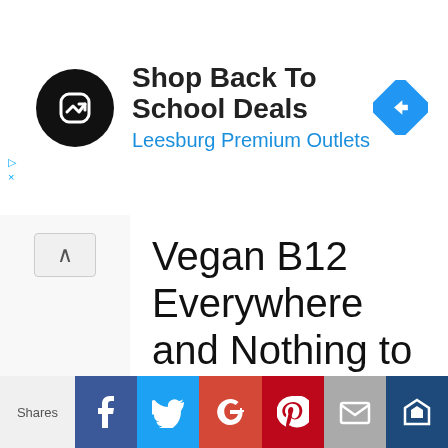[Figure (screenshot): Advertisement banner for Leesburg Premium Outlets - Shop Back To School Deals, with circular black logo and blue navigation diamond icon]
Vegan B12 Everywhere and Nothing to Absorb
Interestingly, while humans lost the ability to make all but a small amount of saturated fat in our digestive tract, the bacteria in our colon still make enough Vitamin B12 to meet our needs. But there's a glitch in the matrix. A quirk
Shares | Facebook | Twitter | Google+ | Pinterest | Email | SumoMe